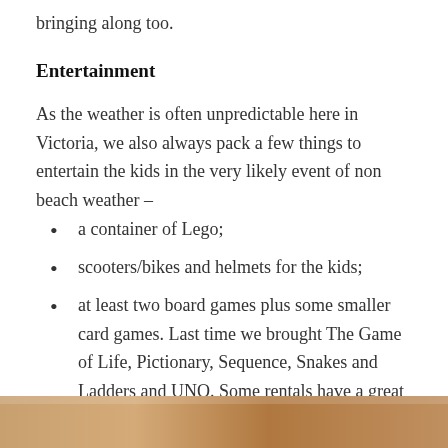bringing along too.
Entertainment
As the weather is often unpredictable here in Victoria, we also always pack a few things to entertain the kids in the very likely event of non beach weather –
a container of Lego;
scooters/bikes and helmets for the kids;
at least two board games plus some smaller card games. Last time we brought The Game of Life, Pictionary, Sequence, Snakes and Ladders and UNO. Some rentals have a great stash already so it's worth checking;
[Figure (photo): Partial photo at bottom of page, brownish/warm toned image cropped at page bottom]